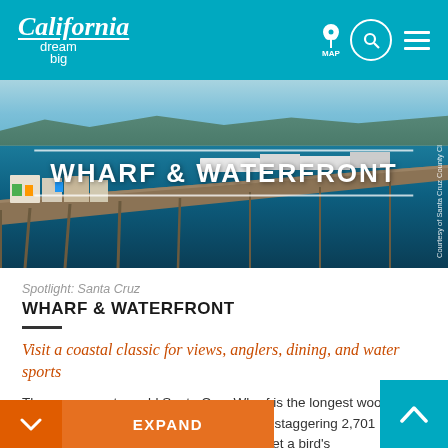California dream big
[Figure (photo): Aerial view of Santa Cruz Wharf extending into the ocean, with buildings and colorful structures visible on the pier. Sky and mountains in background.]
WHARF & WATERFRONT
Courtesy of Santa Cruz County Cl
Spotlight: Santa Cruz
WHARF & WATERFRONT
Visit a coastal classic for views, anglers, dining, and water sports
The over-a-century-old Santa Cruz Wharf is the longest wooden strucutre of its kind on the West Coast—a staggering 2,701 feet/823 meters long. Walk to the end to get a bird's